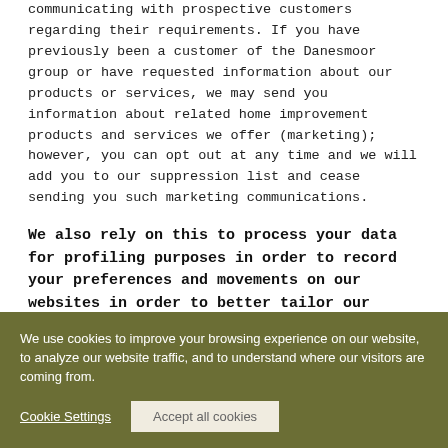communicating with prospective customers regarding their requirements. If you have previously been a customer of the Danesmoor group or have requested information about our products or services, we may send you information about related home improvement products and services we offer (marketing); however, you can opt out at any time and we will add you to our suppression list and cease sending you such marketing communications.
We also rely on this to process your data for profiling purposes in order to record your preferences and movements on our websites in order to better tailor our marketing.
We use cookies to improve your browsing experience on our website, to analyze our website traffic, and to understand where our visitors are coming from.
Cookie Settings | Accept all cookies